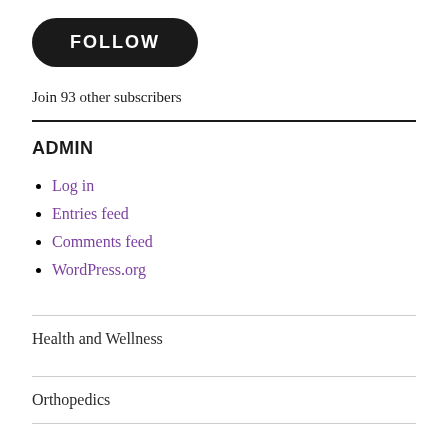FOLLOW
Join 93 other subscribers
ADMIN
Log in
Entries feed
Comments feed
WordPress.org
Health and Wellness
Orthopedics